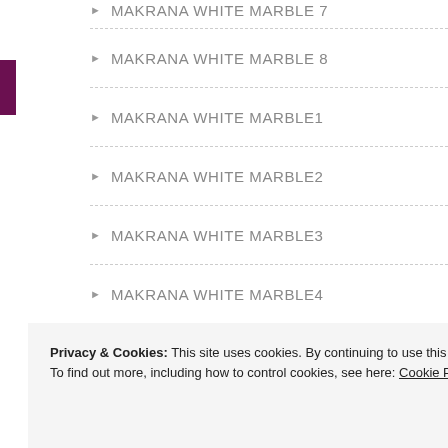MAKRANA WHITE MARBLE 8
MAKRANA WHITE MARBLE1
MAKRANA WHITE MARBLE2
MAKRANA WHITE MARBLE3
MAKRANA WHITE MARBLE4
MAKRANA WHITE MARBLE5
MAKRANA WHITE MARBLE6
MAKRANA WHITE MARBLE7
MAKRANA WHITE MARBLE8
Mandana Red Sandstone
Privacy & Cookies: This site uses cookies. By continuing to use this website, you agree to their use.
To find out more, including how to control cookies, see here: Cookie Policy
Close and accept